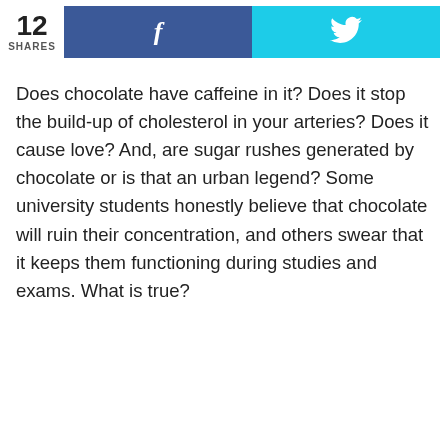12 SHARES
Does chocolate have caffeine in it? Does it stop the build-up of cholesterol in your arteries? Does it cause love? And, are sugar rushes generated by chocolate or is that an urban legend? Some university students honestly believe that chocolate will ruin their concentration, and others swear that it keeps them functioning during studies and exams. What is true?